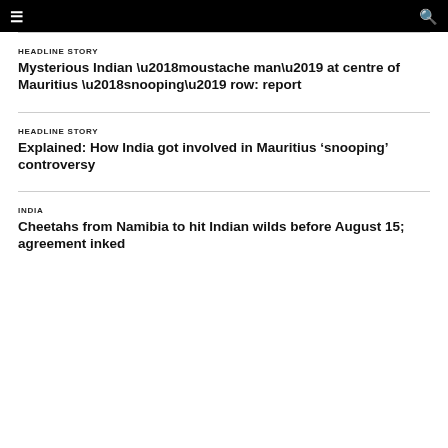≡  🔍
HEADLINE STORY
Mysterious Indian ‘moustache man’ at centre of Mauritius ‘snooping’ row: report
HEADLINE STORY
Explained: How India got involved in Mauritius ‘snooping’ controversy
INDIA
Cheetahs from Namibia to hit Indian wilds before August 15; agreement inked